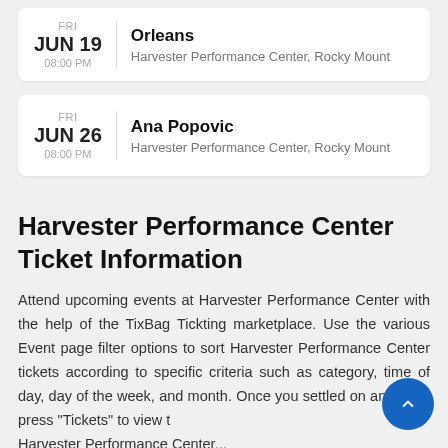FRI JUN 19 08:00 PM — Orleans, Harvester Performance Center, Rocky Mount
FRI JUN 26 08:00 PM — Ana Popovic, Harvester Performance Center, Rocky Mount
Harvester Performance Center Ticket Information
Attend upcoming events at Harvester Performance Center with the help of the TixBag Tickting marketplace. Use the various Event page filter options to sort Harvester Performance Center tickets according to specific criteria such as category, time of day, day of the week, and month. Once you settled on an event, press "Tickets" to view the Harvester Performance Center...